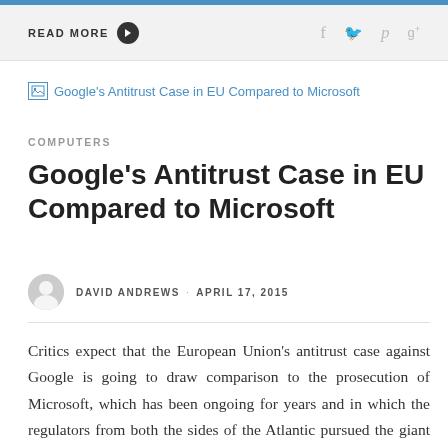READ MORE
[Figure (illustration): Broken image placeholder with alt text: Google's Antitrust Case in EU Compared to Microsoft]
COMPUTERS
Google's Antitrust Case in EU Compared to Microsoft
DAVID ANDREWS · APRIL 17, 2015
Critics expect that the European Union's antitrust case against Google is going to draw comparison to the prosecution of Microsoft, which has been ongoing for years and in which the regulators from both the sides of the Atlantic pursued the giant software company for its alleged anticompetitive behavior. However, the